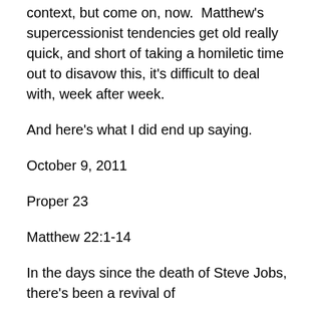context, but come on, now.  Matthew's supercessionist tendencies get old really quick, and short of taking a homiletic time out to disavow this, it's difficult to deal with, week after week.
And here's what I did end up saying.
October 9, 2011
Proper 23
Matthew 22:1-14
In the days since the death of Steve Jobs, there's been a revival of
heaven jokes, heaven cartoons. And among them my favorite: A man dies,